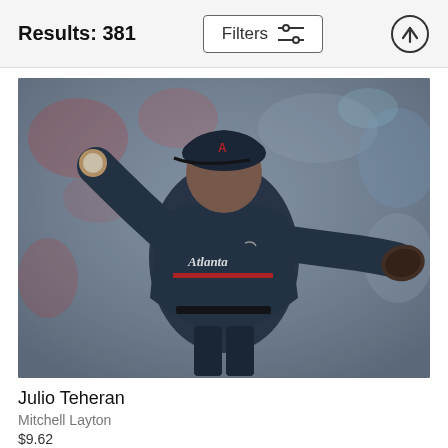Results: 381
[Figure (photo): Baseball pitcher Julio Teheran in Atlanta Braves dark navy uniform mid-throw, crowd in background]
Julio Teheran
Mitchell Layton
$9.62